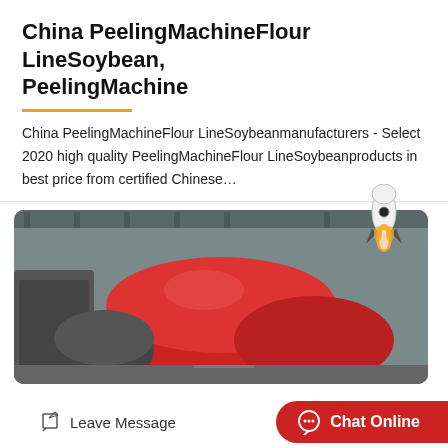China PeelingMachineFlour LineSoybean, PeelingMachine
China PeelingMachineFlour LineSoybeanmanufacturers - Select 2020 high quality PeelingMachineFlour LineSoybeanproducts in best price from certified Chinese…
[Figure (photo): Industrial peeling machine with large red cylindrical drum in a factory setting]
Leave Message
Chat Online